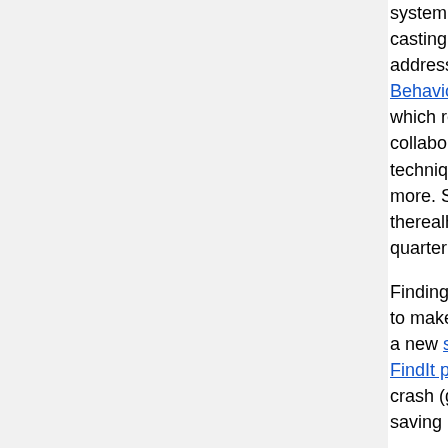system. One of the common security pitfalls in casting (often rooted in aggressive polymorphism), address, one of our interns tweaked UBSAN (Undefined Behavior Sanitizer) vptr to detect bad-casting, which resulted in 11 new security bugs! We've collaborate with external researchers on new techniques to find bugs in V8, Pdfium, Web W... more. Shout out to attekett, cloudfuzzer, deco... therealholden for their attention and bugs over... quarter!
Finding bugs is only half the battle, so we also to make it easier to get security bugs ==fixed= a new security sheriff dashboard and (2) cont... FindIt project, which helps narrow down susp... crash (given a regression range and stacktrac... saving manual triage cycles.
Bugs still happen, so our Guts effort builds in defense. We did a number of things to push s... more platforms and architectures, including: ( support for MIPS and ARM64, (2) adding a ne... initialize seccomp-bpf in the presence of threa... a big step closer to a stronger sandbox on An... general tightening of the sandboxes, and (4) v... specific language to better express BPF poli...